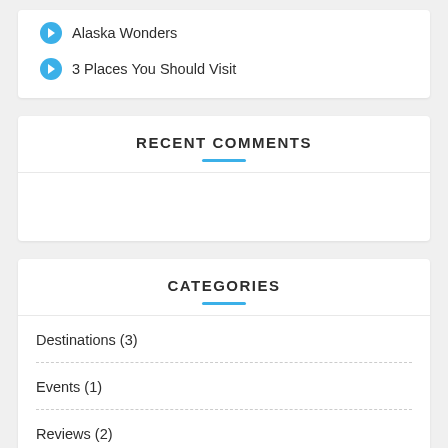Alaska Wonders
3 Places You Should Visit
RECENT COMMENTS
CATEGORIES
Destinations (3)
Events (1)
Reviews (2)